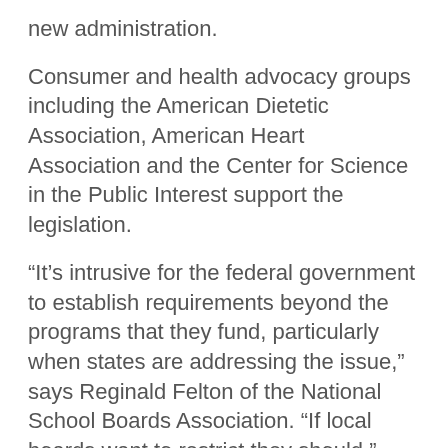new administration.
Consumer and health advocacy groups including the American Dietetic Association, American Heart Association and the Center for Science in the Public Interest support the legislation.
“It’s intrusive for the federal government to establish requirements beyond the programs that they fund, particularly when states are addressing the issue,” says Reginald Felton of the National School Boards Association. “If local boards want to restrict they should.”
He also noted that some schools rely on snack sales to help cover costs. So, we make ends meet at the expense of our children’s health?
(via: Reuters)